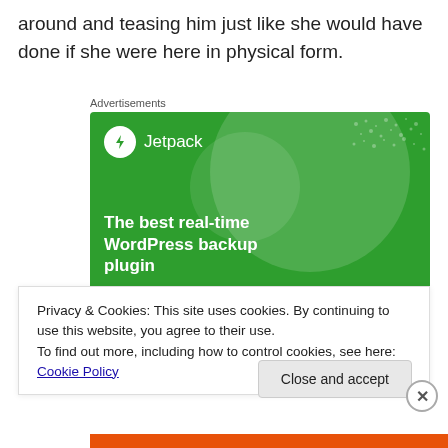around and teasing him just like she would have done if she were here in physical form.
Advertisements
[Figure (illustration): Jetpack advertisement banner with green background showing 'The best real-time WordPress backup plugin' with Jetpack logo]
Privacy & Cookies: This site uses cookies. By continuing to use this website, you agree to their use.
To find out more, including how to control cookies, see here: Cookie Policy
Advertisements